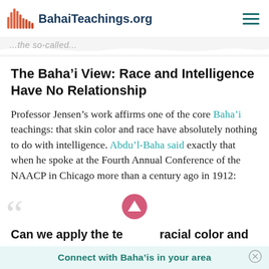BahaiTeachings.org
...the so-called...
The Baha'i View: Race and Intelligence Have No Relationship
Professor Jensen's work affirms one of the core Baha'i teachings: that skin color and race have absolutely nothing to do with intelligence. Abdu'l-Baha said exactly that when he spoke at the Fourth Annual Conference of the NAACP in Chicago more than a century ago in 1912:
Can we apply the te... racial color and...
Connect with Baha'is in your area